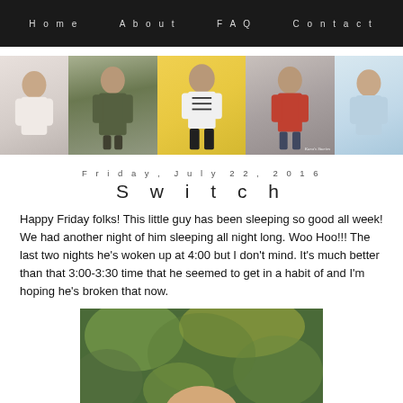Home   About   FAQ   Contact
[Figure (photo): Horizontal strip of 5 fashion/lifestyle photos of a woman in various outfits]
Friday, July 22, 2016
Switch
Happy Friday folks! This little guy has been sleeping so good all week! We had another night of him sleeping all night long. Woo Hoo!!! The last two nights he's woken up at 4:00 but I don't mind. It's much better than that 3:00-3:30 time that he seemed to get in a habit of and I'm hoping he's broken that now.
[Figure (photo): Close-up outdoor photo with blurred green/yellow background, showing top of a baby's head]